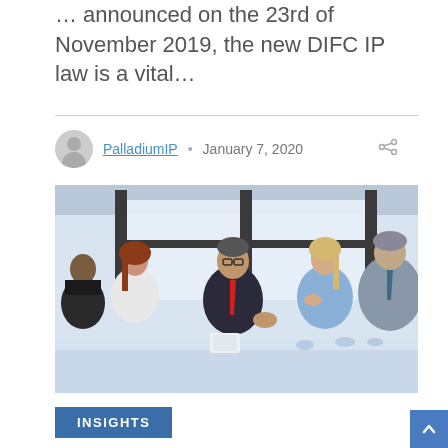... announced on the 23rd of November 2019, the new DIFC IP law is a vital...
PalladiumIP • January 7, 2020
[Figure (photo): Business meeting scene with five professionals sitting around a conference table, man in suit with red tie speaking, large windows in background]
INSIGHTS